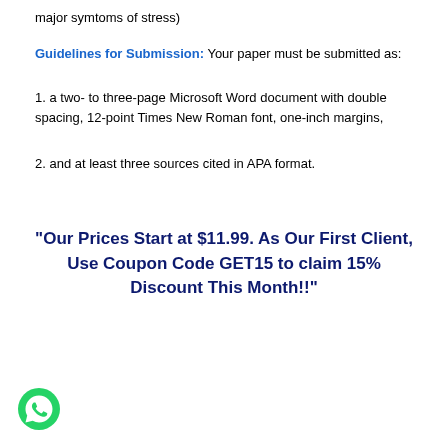major symtoms of stress)
Guidelines for Submission: Your paper must be submitted as:
1. a two- to three-page Microsoft Word document with double spacing, 12-point Times New Roman font, one-inch margins,
2. and at least three sources cited in APA format.
"Our Prices Start at $11.99. As Our First Client, Use Coupon Code GET15 to claim 15% Discount This Month!!"
[Figure (logo): WhatsApp green phone icon in a circle]